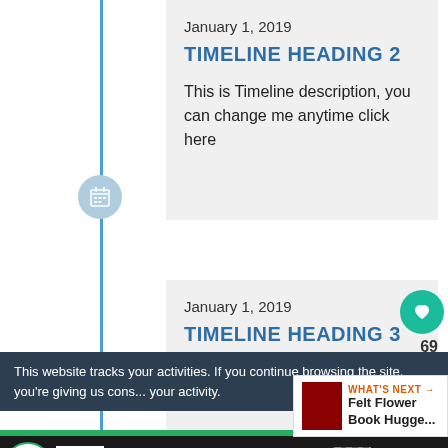January 1, 2019
TIMELINE HEADING 2
This is Timeline description, you can change me anytime click here
January 1, 2019
TIMELINE HEADING 3
This website tracks your activities. If you continue browsing the site, you're giving us cons... your activity.
WHAT'S NEXT → Felt Flower Book Hugge...